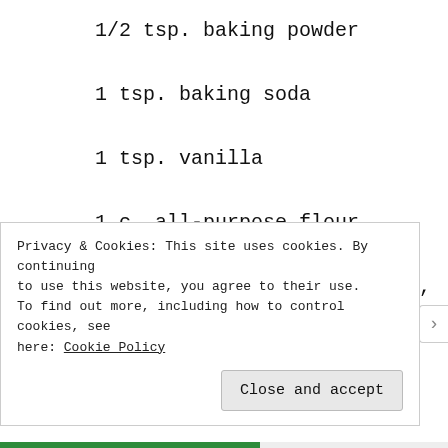1/2 tsp. baking powder
1 tsp. baking soda
1 tsp. vanilla
1 c. all-purpose flour
1 Granny Smith apple peeled, cored, and sliced very thin
Privacy & Cookies: This site uses cookies. By continuing to use this website, you agree to their use. To find out more, including how to control cookies, see here: Cookie Policy